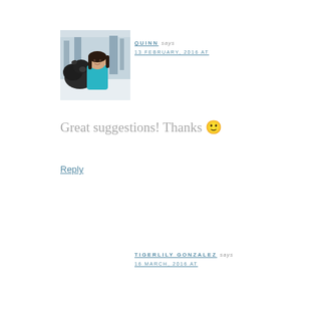[Figure (photo): Avatar photo of Quinn: a young woman with dark hair standing next to a dark-colored cow in a snowy outdoor setting, wearing a teal top]
QUINN says 13 FEBRUARY, 2016 AT
Great suggestions! Thanks 🙂
Reply
TIGERLILY GONZALEZ says 16 MARCH, 2016 AT